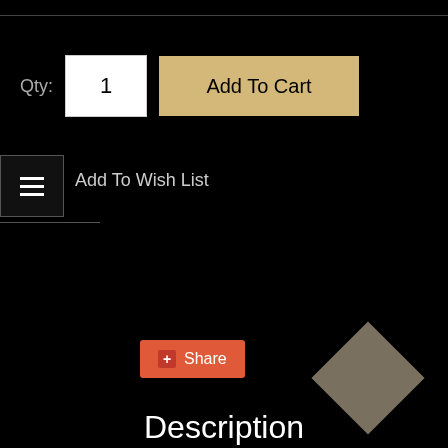Qty:
1
Add To Cart
[Figure (other): Hamburger menu icon (three horizontal lines) in a dark bordered box]
Add To Wish List
[Figure (other): Share button with red/orange background and plus icon]
[Figure (other): Diamond/rhombus shape in dark gray-brown color in lower right corner]
Description